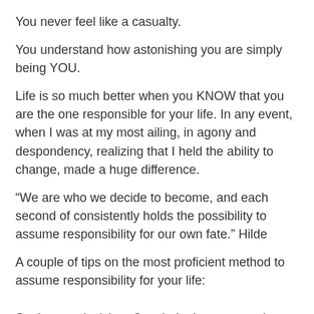You never feel like a casualty.
You understand how astonishing you are simply being YOU.
Life is so much better when you KNOW that you are the one responsible for your life. In any event, when I was at my most ailing, in agony and despondency, realizing that I held the ability to change, made a huge difference.
“We are who we decide to become, and each second of consistently holds the possibility to assume responsibility for our own fate.” Hilde
A couple of tips on the most proficient method to assume responsibility for your life:
Settle on a decision. Conclude that you are the manager of your life, and that no one but you can do what it expected to carry on with the life you need and need. When you settle on a choice, stay with it, and maintain your core interest. Give yourself time, and understand that everything will be alright.
Be the power. We are so used to tuning in to other people, that consultation our own voice can be hard. Relinquish